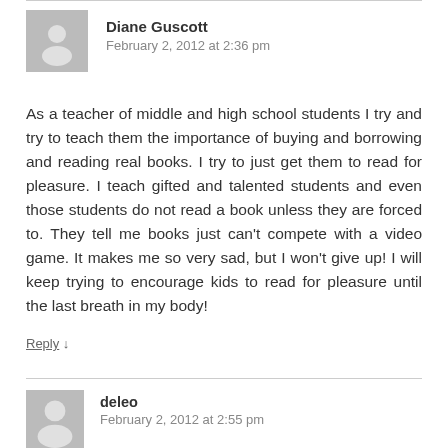Diane Guscott
February 2, 2012 at 2:36 pm
As a teacher of middle and high school students I try and try to teach them the importance of buying and borrowing and reading real books. I try to just get them to read for pleasure. I teach gifted and talented students and even those students do not read a book unless they are forced to. They tell me books just can't compete with a video game. It makes me so very sad, but I won't give up! I will keep trying to encourage kids to read for pleasure until the last breath in my body!
Reply ↓
deleo
February 2, 2012 at 2:55 pm